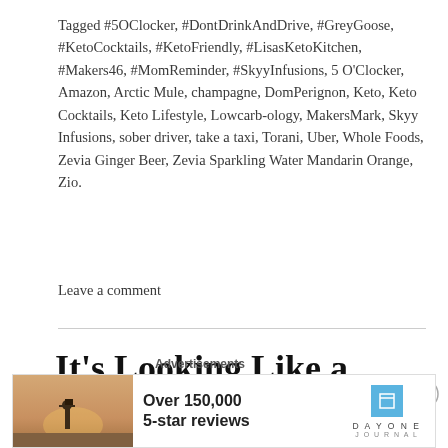Tagged #5OClocker, #DontDrinkAndDrive, #GreyGoose, #KetoCocktails, #KetoFriendly, #LisasKetoKitchen, #Makers46, #MomReminder, #SkyyInfusions, 5 O'Clocker, Amazon, Arctic Mule, champagne, DomPerignon, Keto, Keto Cocktails, Keto Lifestyle, Lowcarb-ology, MakersMark, Skyy Infusions, sober driver, take a taxi, Torani, Uber, Whole Foods, Zevia Ginger Beer, Zevia Sparkling Water Mandarin Orange, Zio.
Leave a comment
It’s Looking Like a Maker’s Kind of Day
[Figure (other): Advertisement banner for Day One Journal app showing a person photographing a sunset, with text 'Over 150,000 5-star reviews' and the Day One Journal logo]